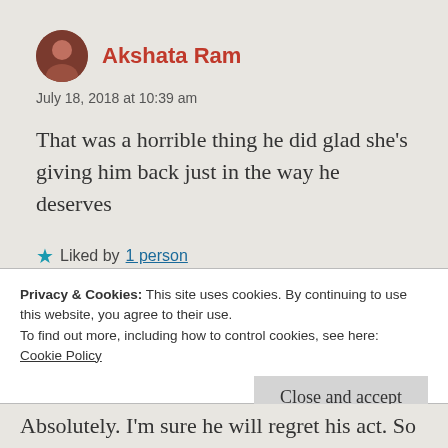Akshata Ram
July 18, 2018 at 10:39 am
That was a horrible thing he did glad she's giving him back just in the way he deserves
Liked by 1 person
Reply
Privacy & Cookies: This site uses cookies. By continuing to use this website, you agree to their use.
To find out more, including how to control cookies, see here: Cookie Policy
Close and accept
Absolutely. I'm sure he will regret his act. So